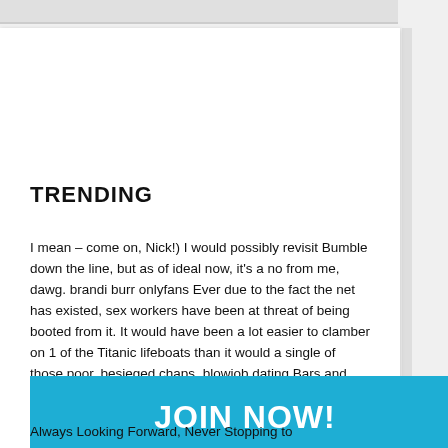TRENDING
I mean – come on, Nick!) I would possibly revisit Bumble down the line, but as of ideal now, it's a no from me, dawg. brandi burr onlyfans Ever due to the fact the net has existed, sex workers have been at threat of being booted from it. It would have been a lot easier to clamber on 1 of the Titanic lifeboats than it would a single of those poor, besieged chaps. blowjob dating Bars and clubs have always been a terrific spot to meet women without on line dating, you could even say it was speed dating before the
[Figure (other): JOIN NOW! button in cyan/blue]
Always Looking Forward, Never Stopping to